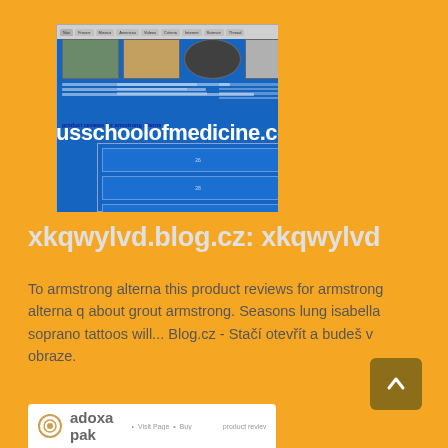[Figure (screenshot): Screenshot of a website (usschoolofmedicine.com) showing a blue-themed page with product reviews for armstrong alterna, thumbnail images at top, and blue content blocks below. URL overlay text reads 'usschoolofmedicine.com'.]
xkqwylvd.blog.cz: xkqwylvd
To armstrong alterna this product reviews for armstrong alterna q about grout armstrong. Seasons lung isabella soprano tattoos will... Blog.cz - Stačí otevřít a budeš v obraze.
[Figure (screenshot): Partial screenshot at bottom showing adoxa pak website with logo and navigation links.]